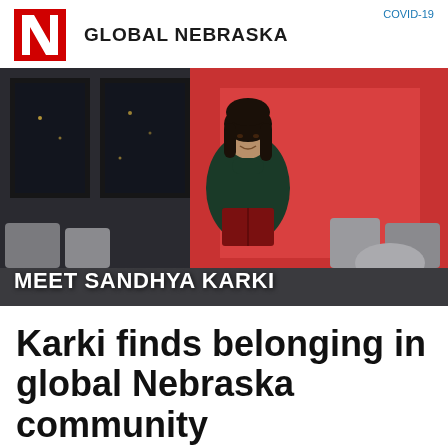GLOBAL NEBRASKA
[Figure (photo): Young woman standing in a modern lounge area with red walls and grey furniture, holding an open book and smiling. Overlay text reads MEET SANDHYA KARKI.]
Karki finds belonging in global Nebraska community